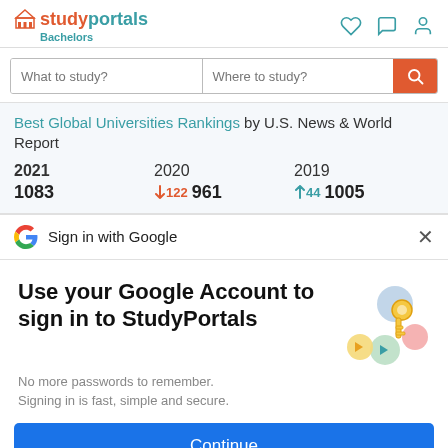studyportals Bachelors
What to study? | Where to study?
Best Global Universities Rankings by U.S. News & World Report
2021   2020   2019
1083   ↓122 961   ↑44   1005
Sign in with Google
Use your Google Account to sign in to StudyPortals
No more passwords to remember. Signing in is fast, simple and secure.
Continue